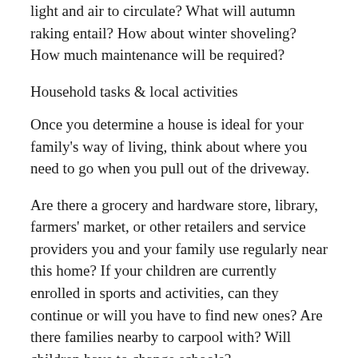light and air to circulate? What will autumn raking entail? How about winter shoveling? How much maintenance will be required?
Household tasks & local activities
Once you determine a house is ideal for your family's way of living, think about where you need to go when you pull out of the driveway.
Are there a grocery and hardware store, library, farmers' market, or other retailers and service providers you and your family use regularly near this home? If your children are currently enrolled in sports and activities, can they continue or will you have to find new ones? Are there families nearby to carpool with? Will children have to change schools?
Making your decision
Create a check list of things that matter to you and rate